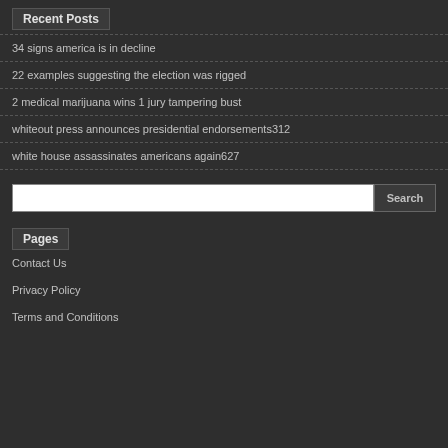Recent Posts
34 signs america is in decline
22 examples suggesting the election was rigged
2 medical marijuana wins 1 jury tampering bust
whiteout press announces presidential endorsements312
white house assassinates americans again627
Pages
Contact Us
Privacy Policy
Terms and Conditions